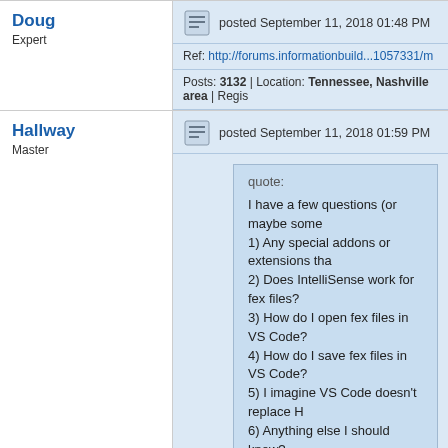Doug
Expert
posted September 11, 2018 01:48 PM
Ref: http://forums.informationbuild...1057331/m
Posts: 3132 | Location: Tennessee, Nashville area | Regis
Hallway
Master
posted September 11, 2018 01:59 PM
quote:
I have a few questions (or maybe some
1) Any special addons or extensions tha
2) Does IntelliSense work for fex files?
3) How do I open fex files in VS Code?
4) How do I save fex files in VS Code?
5) I imagine VS Code doesn't replace H
6) Anything else I should know?
I actually just posted in a different thread yester
In answer to your questions:
1) There is a WebFOCUS Extension that I use i
2) There is some limited WebFOCUS intellisens
3 & 4) You can integrate it into your AppStudio s bottom of that section change the Default file ec checkbox is checked. Then you need to associa Code. Then when you double click a file in Apps make in VS Code will be synced with AppStu